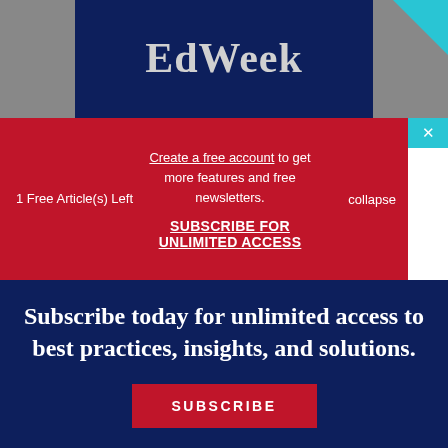[Figure (screenshot): EdWeek logo/header on dark navy background with teal corner accent]
1 Free Article(s) Left
Create a free account to get more features and free newsletters.
SUBSCRIBE FOR UNLIMITED ACCESS
collapse
Subscribe today for unlimited access to best practices, insights, and solutions.
SUBSCRIBE